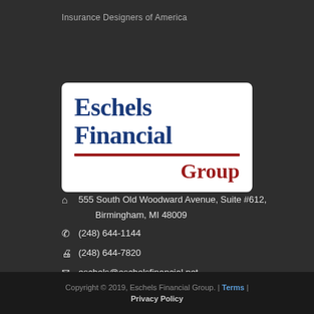Insurance Designers of America
[Figure (logo): Eschels Financial Group logo — white rounded rectangle with blue serif text 'Eschels Financial' and a dark red horizontal rule followed by dark red serif text 'Group' right-aligned]
555 South Old Woodward Avenue, Suite #612, Birmingham, MI 48009
(248) 644-1144
(248) 644-7820
eschels@eschelsfinancial.net
Copyright © 2019, Eschels Financial Group. | Terms | Privacy Policy